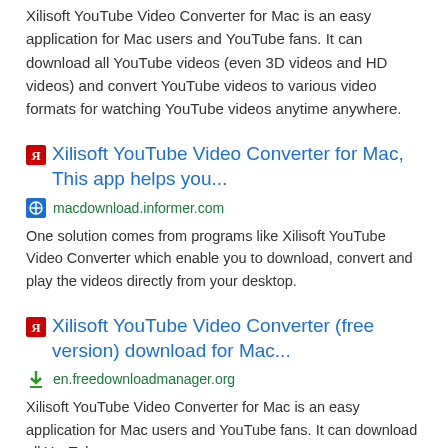Xilisoft YouTube Video Converter for Mac is an easy application for Mac users and YouTube fans. It can download all YouTube videos (even 3D videos and HD videos) and convert YouTube videos to various video formats for watching YouTube videos anytime anywhere.
Xilisoft YouTube Video Converter for Mac, This app helps you...
macdownload.informer.com
One solution comes from programs like Xilisoft YouTube Video Converter which enable you to download, convert and play the videos directly from your desktop.
Xilisoft YouTube Video Converter (free version) download for Mac...
en.freedownloadmanager.org
Xilisoft YouTube Video Converter for Mac is an easy application for Mac users and YouTube fans. It can download all YouTube